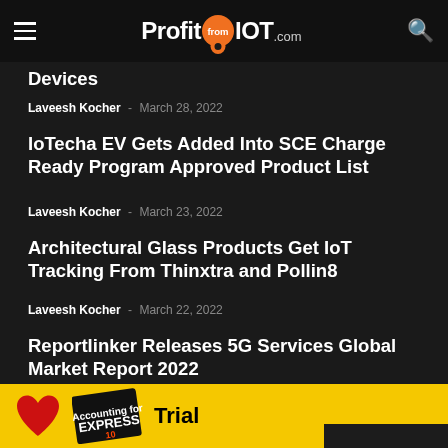ProfitfromIOT.com
Devices
Laveesh Kocher - March 28, 2022
IoTecha EV Gets Added Into SCE Charge Ready Program Approved Product List
Laveesh Kocher - March 23, 2022
Architectural Glass Products Get IoT Tracking From Thinxtra and Pollin8
Laveesh Kocher - March 22, 2022
Reportlinker Releases 5G Services Global Market Report 2022
Laveesh Kocher - March 22, 2022
[Figure (other): Advertisement banner with yellow background, red heart, Express logo, Trial text, and partial text at bottom]